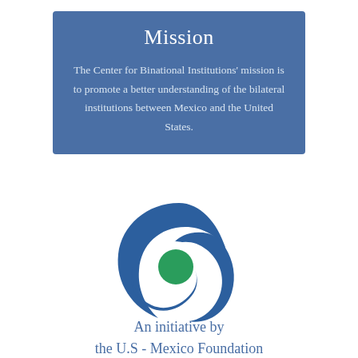Mission
The Center for Binational Institutions' mission is to promote a better understanding of the bilateral institutions between Mexico and the United States.
[Figure (logo): Circular logo with two interlocking blue crescent shapes forming a swirl and a green circle in the center, representing the Center for Binational Institutions / U.S.-Mexico Foundation.]
An initiative by the U.S - Mexico Foundation